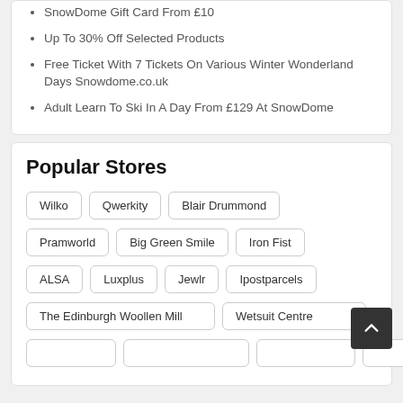SnowDome Gift Card From £10
Up To 30% Off Selected Products
Free Ticket With 7 Tickets On Various Winter Wonderland Days Snowdome.co.uk
Adult Learn To Ski In A Day From £129 At SnowDome
Popular Stores
Wilko, Qwerkity, Blair Drummond, Pramworld, Big Green Smile, Iron Fist, ALSA, Luxplus, Jewlr, Ipostparcels, The Edinburgh Woollen Mill, Wetsuit Centre